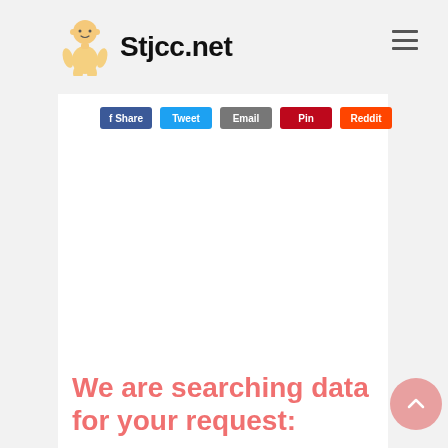Stjcc.net
[Figure (other): Social share buttons row: Facebook (blue), Twitter (light blue), Email/grey, Pinterest (red), Reddit (orange-red)]
We are searching data for your request: